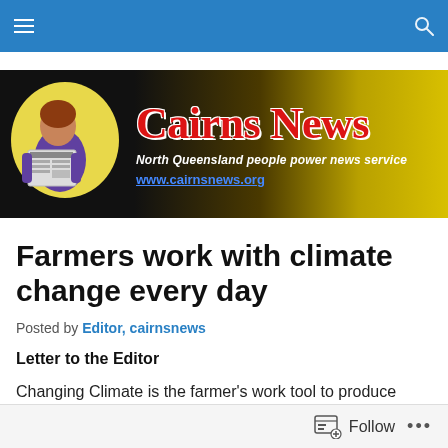Cairns News navigation bar
[Figure (logo): Cairns News banner logo with illustration of person reading newspaper, text 'Cairns News', tagline 'North Queensland people power news service', URL 'www.cairnsnews.org']
Farmers work with climate change every day
Posted by Editor, cairnsnews
Letter to the Editor
Changing Climate is the farmer's work tool to produce